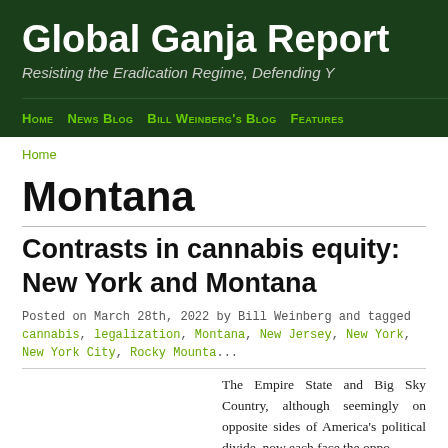Global Ganja Report
Resisting the Eradication Regime, Defending Y
Home  News Blog  Bill Weinberg's Blog  Features
Home
Montana
Contrasts in cannabis equity: New York and Montana
Posted on March 28th, 2022 by Bill Weinberg and tagged cannabis, legalization, Montana, New Jersey, New York, New York City, Rocky Mounta...
The Empire State and Big Sky Country, although seemingly on opposite sides of America's political divide, now each face the oppo...